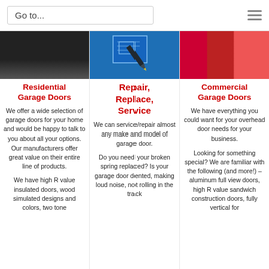Go to...
[Figure (photo): Dark interior garage door photo]
Residential Garage Doors
We offer a wide selection of garage doors for your home and would be happy to talk to you about all your options. Our manufacturers offer great value on their entire line of products. We have high R value insulated doors, wood simulated designs and colors, two tone
[Figure (photo): Blueprint and pencil on blue background]
Repair, Replace, Service
We can service/repair almost any make and model of garage door.
Do you need your broken spring replaced? Is your garage door dented, making loud noise, not rolling in the track
[Figure (photo): Commercial orange/red garage door photo]
Commercial Garage Doors
We have everything you could want for your overhead door needs for your business.
Looking for something special? We are familiar with the following (and more!) – aluminum full view doors, high R value sandwich construction doors, fully vertical for